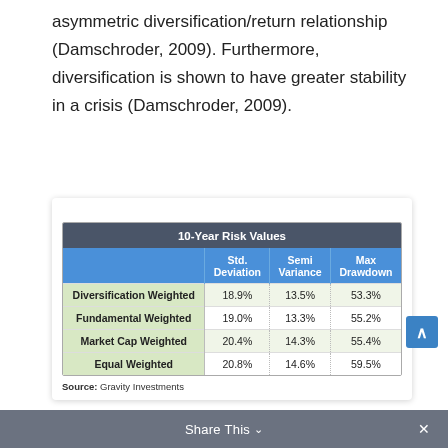asymmetric diversification/return relationship (Damschroder, 2009). Furthermore, diversification is shown to have greater stability in a crisis (Damschroder, 2009).
Figure 13
|  | Std. Deviation | Semi Variance | Max Drawdown |
| --- | --- | --- | --- |
| Diversification Weighted | 18.9% | 13.5% | 53.3% |
| Fundamental Weighted | 19.0% | 13.3% | 55.2% |
| Market Cap Weighted | 20.4% | 14.3% | 55.4% |
| Equal Weighted | 20.8% | 14.6% | 59.5% |
Source: Gravity Investments
Share This ∨  ×